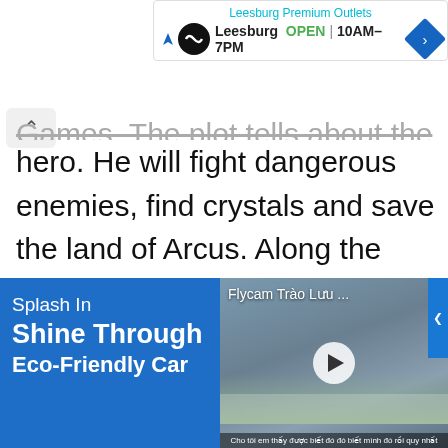[Figure (screenshot): Ad banner for Leesburg Premium Outlets showing logo, OPEN status, hours 10AM-7PM, and navigation arrow]
Games. The plot tells about the chosen hero. He will fight dangerous enemies, find crystals and save the land of Arcus. Along the way, they are accompanied by wonderful assistants. They help you overcome hundreds of battles, complete difficult tasks and destroy the main villain.
[Figure (screenshot): Bottom advertisement banner with blue background showing 'Splash In Shine Through Eco-Friendly Car' text on left and a video thumbnail with 'Flycam Trào Lưu ...' label and play button on right]